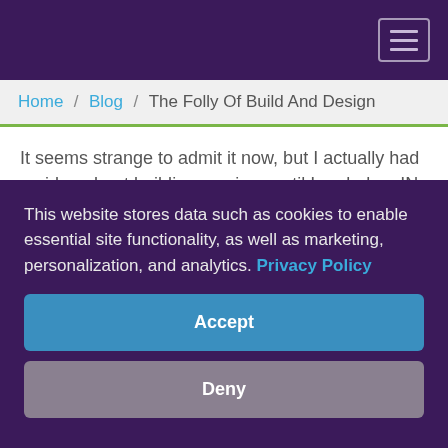Navigation header with hamburger menu
Home / Blog / The Folly Of Build And Design
It seems strange to admit it now, but I actually had no idea about building services until I ended up IN building services.  Having completed a degree in chemical engineering, I went looking for a graduate job and came...
READ MORE
This website stores data such as cookies to enable essential site functionality, as well as marketing, personalization, and analytics. Privacy Policy
Accept
Deny